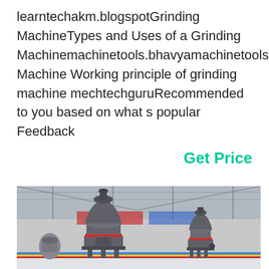learntechakm.blogspotGrinding MachineTypes and Uses of a Grinding Machinemachinetools.bhavyamachinetools.c Machine Working principle of grinding machine mechtechguruRecommended to you based on what s popular Feedback
Get Price
[Figure (photo): Industrial grinding machines (cone crushers/mills) inside a large warehouse facility. Two large grey cone crusher machines are prominently visible in the foreground on a concrete floor with red and yellow paint markings. Steel frame structure visible in background.]